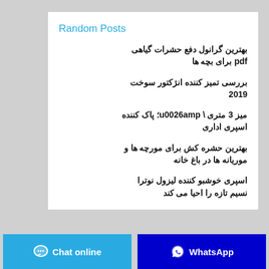Random Posts
بهترین گرانول دفع حشرات گیاهی pdf برای بچه ها
بررسی تمیز کننده انژکتور سوخت 2019
میز 3 متری \ u0026amp؛ پاک کننده اسپری اداری
بهترین حشره کش برای مورچه ها و موریانه ها در باغ خانه
اسپری خوشبو کننده لیزول نوترا نسیم تازه را احیا می کند
Chat online
WhatsApp